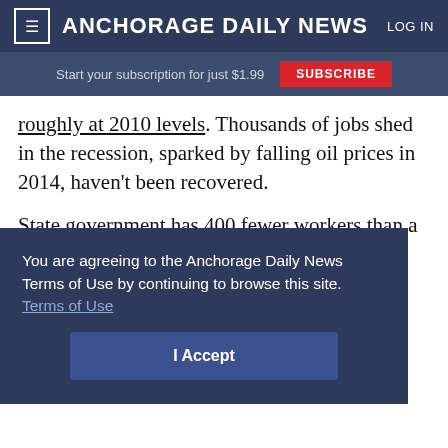≡ ANCHORAGE DAILY NEWS  LOG IN
Start your subscription for just $1.99  SUBSCRIBE
roughly at 2010 levels. Thousands of jobs shed in the recession, sparked by falling oil prices in 2014, haven't been recovered.
State government has 400 fewer workers than a year ago, following budget cuts including the
You are agreeing to the Anchorage Daily News Terms of Use by continuing to browse this site. Terms of Use
I Accept